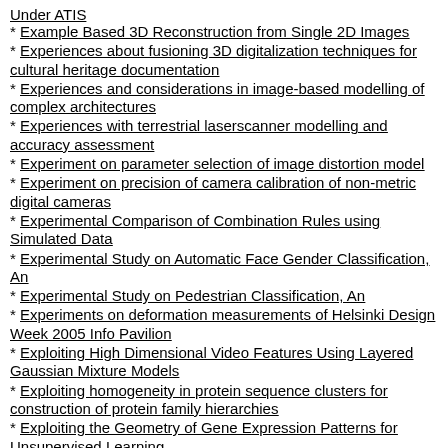Under ATIS
Example Based 3D Reconstruction from Single 2D Images
Experiences about fusioning 3D digitalization techniques for cultural heritage documentation
Experiences and considerations in image-based modelling of complex architectures
Experiences with terrestrial laserscanner modelling and accuracy assessment
Experiment on parameter selection of image distortion model
Experiment on precision of camera calibration of non-metric digital cameras
Experimental Comparison of Combination Rules using Simulated Data
Experimental Study on Automatic Face Gender Classification, An
Experimental Study on Pedestrian Classification, An
Experiments on deformation measurements of Helsinki Design Week 2005 Info Pavilion
Exploiting High Dimensional Video Features Using Layered Gaussian Mixture Models
Exploiting homogeneity in protein sequence clusters for construction of protein family hierarchies
Exploiting the Geometry of Gene Expression Patterns for Unsupervised Learning